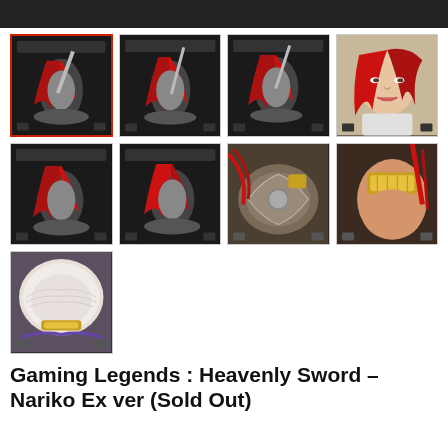[Figure (photo): Grid of 9 thumbnail images of a collectible figure: Gaming Legends Heavenly Sword Nariko Ex ver statue with red hair and sword, shown from multiple angles. First thumbnail has a red selection border.]
Gaming Legends : Heavenly Sword – Nariko Ex ver (Sold Out)